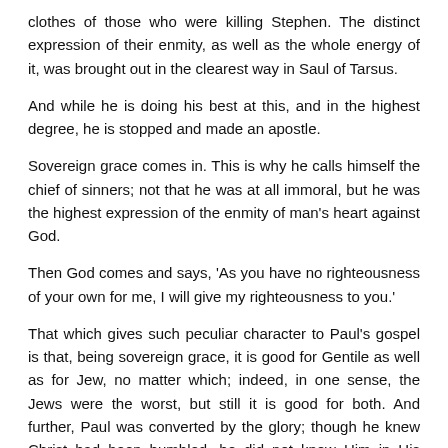clothes of those who were killing Stephen. The distinct expression of their enmity, as well as the whole energy of it, was brought out in the clearest way in Saul of Tarsus.
And while he is doing his best at this, and in the highest degree, he is stopped and made an apostle.
Sovereign grace comes in. This is why he calls himself the chief of sinners; not that he was at all immoral, but he was the highest expression of the enmity of man's heart against God.
Then God comes and says, 'As you have no righteousness of your own for me, I will give my righteousness to you.'
That which gives such peculiar character to Paul's gospel is that, being sovereign grace, it is good for Gentile as well as for Jew, no matter which; indeed, in one sense, the Jews were the worst, but still it is good for both. And further, Paul was converted by the glory; though he knew Christ had been humbled, he did not know Him in His humiliation. He knew the glory before he knew it was Jesus who was glorified.